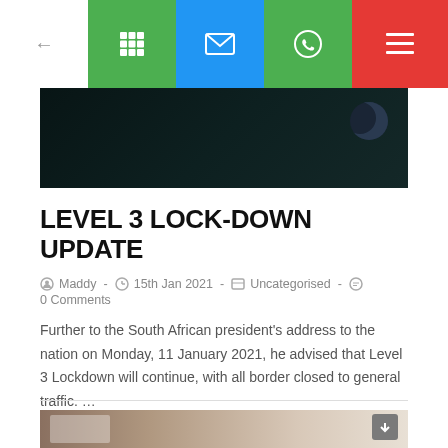[Figure (screenshot): Mobile browser toolbar with back arrow, green grid icon, blue email icon, green WhatsApp icon, and red hamburger menu]
[Figure (photo): Dark hero image with a crescent moon shape visible in the upper right, dark teal/night sky background]
LEVEL 3 LOCK-DOWN UPDATE
Maddy  -  15th Jan 2021  -  Uncategorised  -  0 Comments
Further to the South African president's address to the nation on Monday, 11 January 2021, he advised that Level 3 Lockdown will continue, with all border closed to general traffic. …
Continue Reading ›
[Figure (photo): Bottom partial hero image showing interior of a building with vehicles, warm neutral tones]